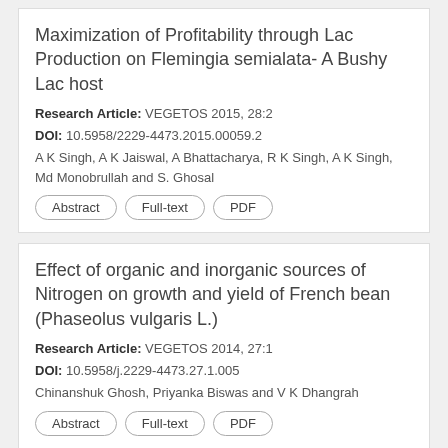Maximization of Profitability through Lac Production on Flemingia semialata- A Bushy Lac host
Research Article: VEGETOS 2015, 28:2
DOI: 10.5958/2229-4473.2015.00059.2
A K Singh, A K Jaiswal, A Bhattacharya, R K Singh, A K Singh, Md Monobrullah and S. Ghosal
Abstract
Full-text
PDF
Effect of organic and inorganic sources of Nitrogen on growth and yield of French bean (Phaseolus vulgaris L.)
Research Article: VEGETOS 2014, 27:1
DOI: 10.5958/j.2229-4473.27.1.005
Chinanshuk Ghosh, Priyanka Biswas and V K Dhangrah
Abstract
Full-text
PDF
Diversity among Indigenous Germplasms of Melon (Cucumis melo L.) Through Seed Protein